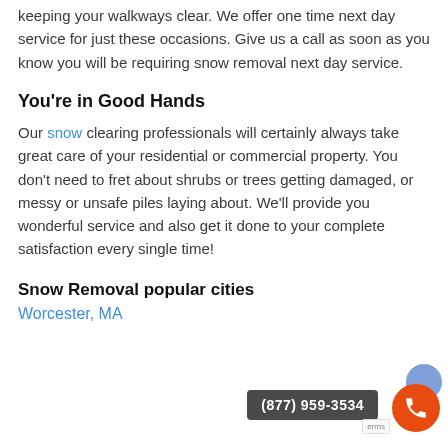keeping your walkways clear. We offer one time next day service for just these occasions. Give us a call as soon as you know you will be requiring snow removal next day service.
You're in Good Hands
Our snow clearing professionals will certainly always take great care of your residential or commercial property. You don't need to fret about shrubs or trees getting damaged, or messy or unsafe piles laying about. We'll provide you wonderful service and also get it done to your complete satisfaction every single time!
Snow Removal popular cities
Worcester, MA